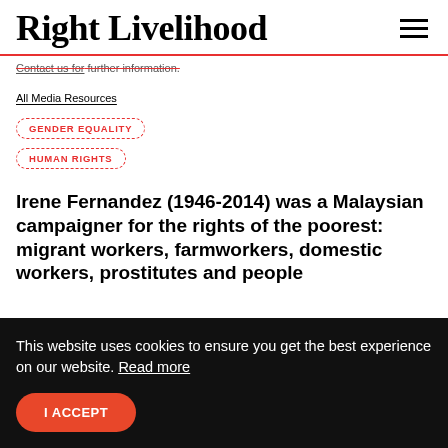Right Livelihood
Contact us for further information.
All Media Resources
GENDER EQUALITY
HUMAN RIGHTS
Irene Fernandez (1946-2014) was a Malaysian campaigner for the rights of the poorest: migrant workers, farmworkers, domestic workers, prostitutes and people
This website uses cookies to ensure you get the best experience on our website. Read more
I ACCEPT